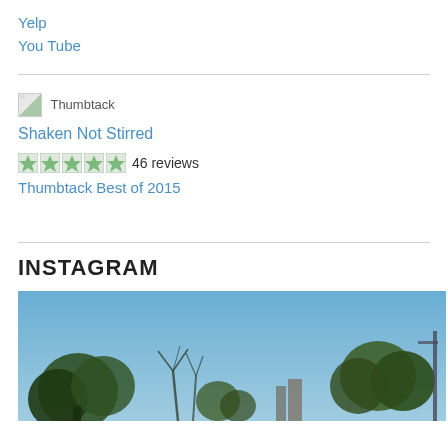Yelp
You Tube
[Figure (other): Thumbtack logo placeholder image]
Shaken Not Stirred
[Figure (other): Five star rating icons]
46 reviews
Thumbtack Best of 2015
INSTAGRAM
[Figure (photo): Outdoor photo with blue sky, trees, and urban buildings in background]